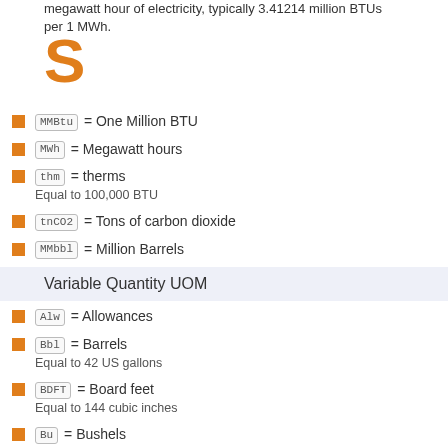megawatt hour of electricity, typically 3.41214 million BTUs per 1 MWh.
S
MMBtu = One Million BTU
MWh = Megawatt hours
thm = therms
Equal to 100,000 BTU
tnCO2 = Tons of carbon dioxide
MMbbl = Million Barrels
Variable Quantity UOM
Alw = Allowances
Bbl = Barrels
Equal to 42 US gallons
BDFT = Board feet
Equal to 144 cubic inches
Bu = Bushels
ccv = Amount of currency